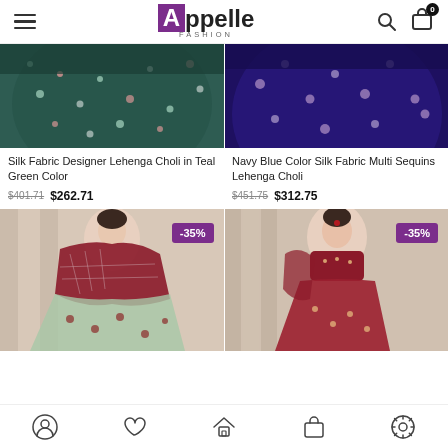Appelle Fashion — navigation header with hamburger menu, logo, search and cart icons
[Figure (photo): Silk Fabric Designer Lehenga Choli in Teal Green Color product photo, cropped]
[Figure (photo): Navy Blue Color Silk Fabric Multi Sequins Lehenga Choli product photo, cropped]
Silk Fabric Designer Lehenga Choli in Teal Green Color
$401.71  $262.71
Navy Blue Color Silk Fabric Multi Sequins Lehenga Choli
$451.75  $312.75
[Figure (photo): Maroon lehenga choli product photo with -35% discount badge]
[Figure (photo): Maroon/pink lehenga choli product photo with -35% discount badge]
Bottom navigation bar with profile, wishlist, home, bag, and settings icons